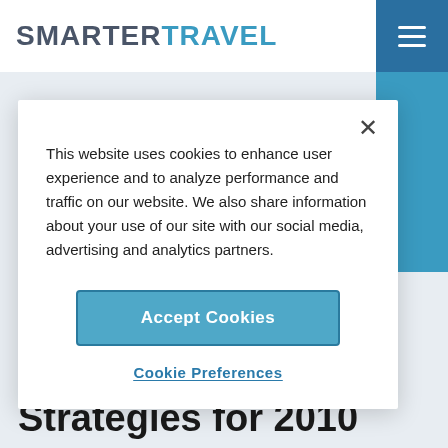SMARTER TRAVEL
This website uses cookies to enhance user experience and to analyze performance and traffic on our website. We also share information about your use of our site with our social media, advertising and analytics partners.
Accept Cookies
Cookie Preferences
AIRFARE DEALS   Jan 13, 2010
Five Crucial Travel Strategies for 2010